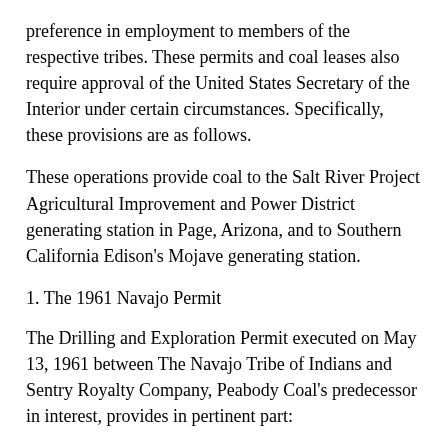preference in employment to members of the respective tribes. These permits and coal leases also require approval of the United States Secretary of the Interior under certain circumstances. Specifically, these provisions are as follows.
These operations provide coal to the Salt River Project Agricultural Improvement and Power District generating station in Page, Arizona, and to Southern California Edison's Mojave generating station.
1. The 1961 Navajo Permit
The Drilling and Exploration Permit executed on May 13, 1961 between The Navajo Tribe of Indians and Sentry Royalty Company, Peabody Coal's predecessor in interest, provides in pertinent part:
9. Permittee shall commence prospecting operations for coal within ninety (90) days of the approval of this permit by the Secretary of the Interior ...
10. Permittee will employ members of the Navajo Tribe